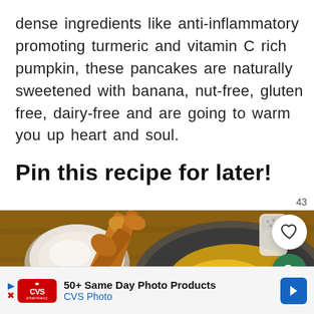dense ingredients like anti-inflammatory promoting turmeric and vitamin C rich pumpkin, these pancakes are naturally sweetened with banana, nut-free, gluten free, dairy-free and are going to warm you up heart and soul.
Pin this recipe for later!
[Figure (photo): Overhead view of cooking ingredients on a wooden surface: a measuring cup of flour, wooden spoons, a pan with yellow turmeric/pumpkin mixture, and a salt shaker]
50+ Same Day Photo Products CVS Photo